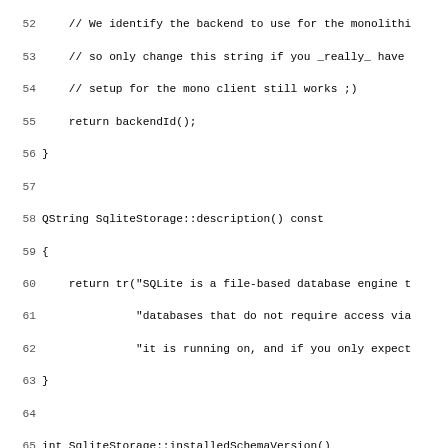[Figure (screenshot): Source code screenshot showing C++ code for SqliteStorage class methods: description(), installedSchemaVersion(), and beginning of updateSchemaVersion(). Lines 52-83 visible. Monospace font on white background with line numbers.]